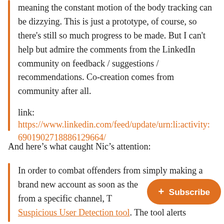meaning the constant motion of the body tracking can be dizzying. This is just a prototype, of course, so there's still so much progress to be made. But I can't help but admire the comments from the LinkedIn community on feedback / suggestions / recommendations. Co-creation comes from community after all.
link:
https://www.linkedin.com/feed/update/urn:li:activity:6901902718886129664/
And here's what caught Nic's attention:
In order to combat offenders from simply making a brand new account as soon as the [hidden] banned from a specific channel, T[witch launched] a Suspicious User Detection tool. The tool alerts